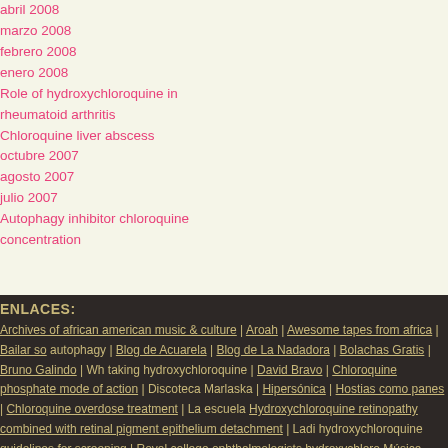abril 2008
marzo 2008
febrero 2008
enero 2008
Role of hydroxychloroquine in rheumatoid arthritis
Chloroquine liver abscess
octubre 2007
agosto 2007
julio 2007
Autophagy inhibitor chloroquine concentration
ENLACES:
Archives of african american music & culture | Aroah | Awesome tapes from africa | Bailar so autophagy | Blog de Acuarela | Blog de La Nadadora | Bolachas Gratis | Bruno Galindo | Wh taking hydroxychloroquine | David Bravo | Chloroquine phosphate mode of action | Discoteca Marlaska | Hipersónica | Hostias como panes | Chloroquine overdose treatment | La escuela Hydroxychloroquine retinopathy combined with retinal pigment epithelium detachment | Ladi hydroxychloroquine guidelines for screening | Royal college ophthalmologists hydroxychloro Música para la generación rechazada | Atovaquone-proguanil chloroquine doxycycline meflc hydroxychloroquine | Nativa | Negrophonic | Noticias de Lloret | Observer music monthly | P2 hydroxychloroquine prevent malaria | Perfect Sound Forever | Chloroquine rheumatoid arthr sulfate hair loss | Reggaetonica | Chloroquine malaria tablets buy | Malaria chloroquine-res